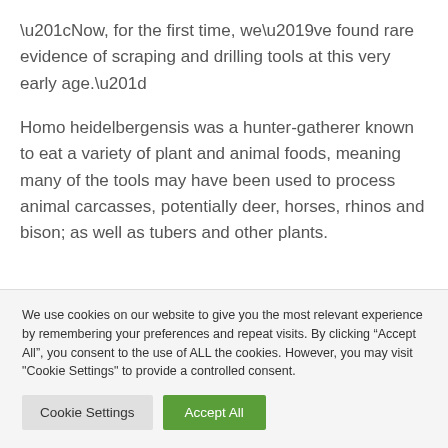“Now, for the first time, we’ve found rare evidence of scraping and drilling tools at this very early age.”
Homo heidelbergensis was a hunter-gatherer known to eat a variety of plant and animal foods, meaning many of the tools may have been used to process animal carcasses, potentially deer, horses, rhinos and bison; as well as tubers and other plants.
We use cookies on our website to give you the most relevant experience by remembering your preferences and repeat visits. By clicking “Accept All”, you consent to the use of ALL the cookies. However, you may visit "Cookie Settings" to provide a controlled consent.